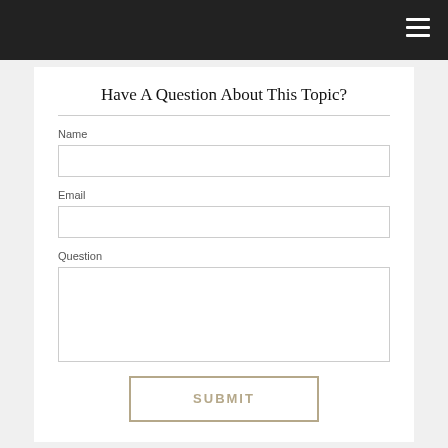Have A Question About This Topic?
Name
Email
Question
SUBMIT